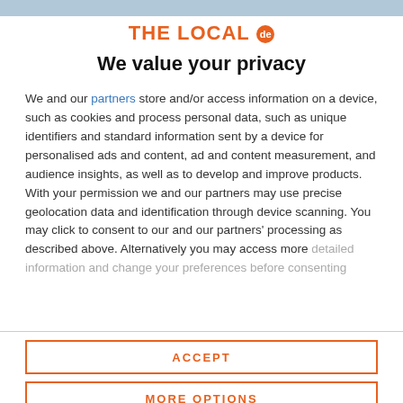THE LOCAL de
We value your privacy
We and our partners store and/or access information on a device, such as cookies and process personal data, such as unique identifiers and standard information sent by a device for personalised ads and content, ad and content measurement, and audience insights, as well as to develop and improve products. With your permission we and our partners may use precise geolocation data and identification through device scanning. You may click to consent to our and our partners' processing as described above. Alternatively you may access more detailed information and change your preferences before consenting
ACCEPT
MORE OPTIONS